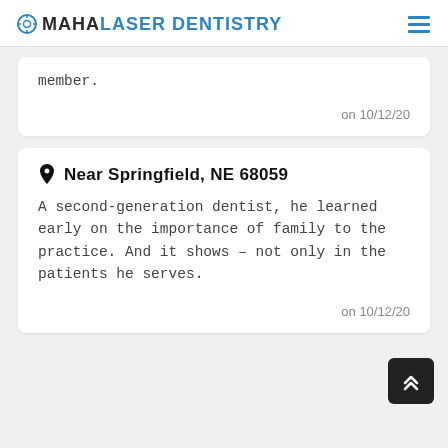OMAHA LASER DENTISTRY
member.
on 10/12/20
Near Springfield, NE 68059
A second-generation dentist, he learned early on the importance of family to the practice. And it shows – not only in the patients he serves.
on 10/12/20